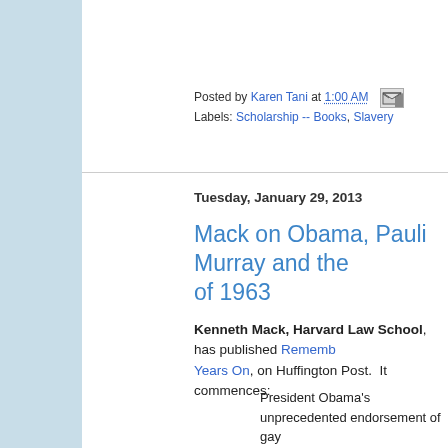Posted by Karen Tani at 1:00 AM  [email icon]
Labels: Scholarship -- Books, Slavery
Tuesday, January 29, 2013
Mack on Obama, Pauli Murray and the of 1963
Kenneth Mack, Harvard Law School, has published Rememb... Years On, on Huffington Post.  It commences:
President Obama's unprecedented endorsement of gay address last week–delivered on the Martin Luther King, J... beginning of a year when Americans will celebrate the 50th groundbreaking events of 1963. . . . As the nation remem... milestones, it is important not to forget the work of a long... emerged publicly that year to link civil rights to women's own closeted sexual identity. In doing so, an African Ame... named Pauli Murray strongly criticized the leadership of for excluding women as it was planning for the march tha... protesters to Washington that fall. More than any other in... deserves credit for spreading the language of civil rights...